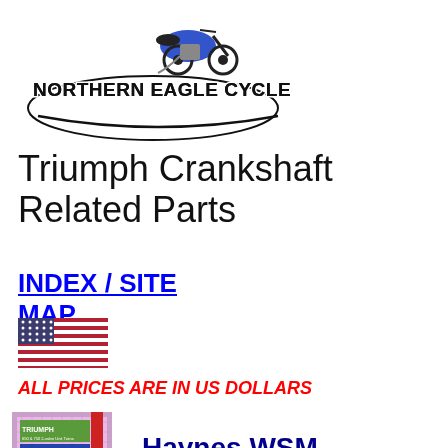[Figure (logo): Northern Eagle Cycle logo with motorcycle image and stylized text]
Triumph Crankshaft Related Parts
INDEX / SITE MAP
[Figure (illustration): US flag icon]
ALL PRICES ARE IN US DOLLARS
[Figure (photo): Triumph Haynes Workshop Service Manual book cover]
Haynes WSM